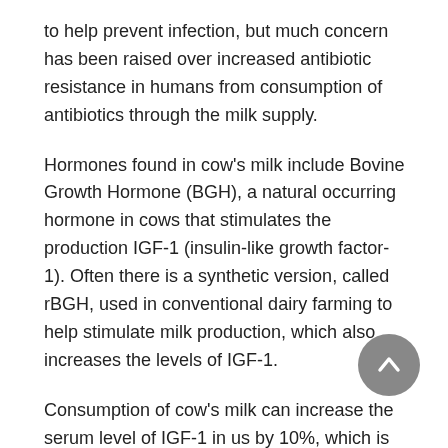to help prevent infection, but much concern has been raised over increased antibiotic resistance in humans from consumption of antibiotics through the milk supply.
Hormones found in cow's milk include Bovine Growth Hormone (BGH), a natural occurring hormone in cows that stimulates the production IGF-1 (insulin-like growth factor-1). Often there is a synthetic version, called rBGH, used in conventional dairy farming to help stimulate milk production, which also increases the levels of IGF-1.
Consumption of cow's milk can increase the serum level of IGF-1 in us by 10%, which is not good, as higher levels of IGF-1 in humans have been linked to a significant increase in the risk of prostate, colon, lung, and breast cancers. Even organic milk still contains the naturally occurring IGF-1.
Fortunately, dairy free milk alternatives do not contain